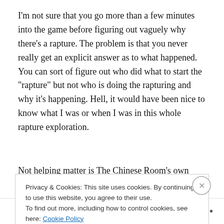I'm not sure that you go more than a few minutes into the game before figuring out vaguely why there's a rapture. The problem is that you never really get an explicit answer as to what happened. You can sort of figure out who did what to start the “rapture” but not who is doing the rapturing and why it’s happening. Hell, it would have been nice to know what I was or when I was in this whole rapture exploration.
Not helping matter is The Chinese Room’s own
Privacy & Cookies: This site uses cookies. By continuing to use this website, you agree to their use.
To find out more, including how to control cookies, see here: Cookie Policy
Close and accept
Follow ...